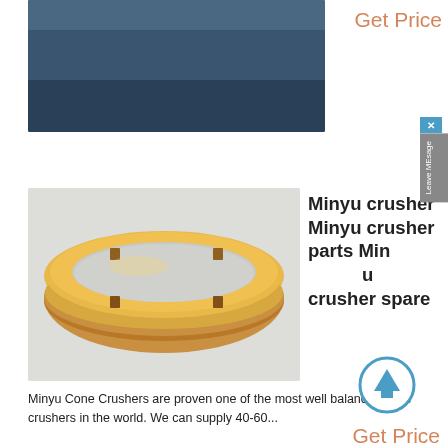[Figure (photo): Top partial product image with dark blue/steel background, partially cropped]
Get Price
[Figure (photo): Gold/bronze colored cone crusher ring bushing, circular metal ring with notches, photographed on white background]
Minyu crusher Minyu crusher parts Minyu crusher spare
Minyu Cone Crushers are proven one of the most well balanced cone crushers in the world. We can supply 40-60...
Get Price
[Figure (photo): Bottom partial image, grey/silver surface, partially cropped]
Cone Crushers